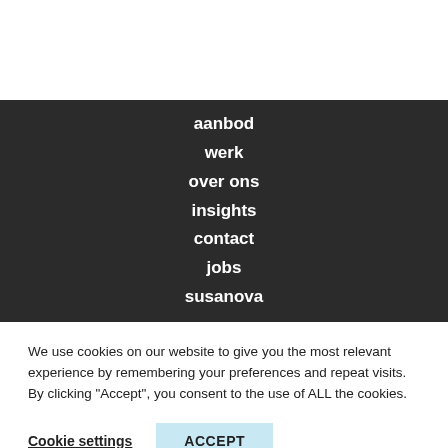aanbod
werk
over ons
insights
contact
jobs
susanova
We use cookies on our website to give you the most relevant experience by remembering your preferences and repeat visits. By clicking “Accept”, you consent to the use of ALL the cookies.
Cookie settings   ACCEPT